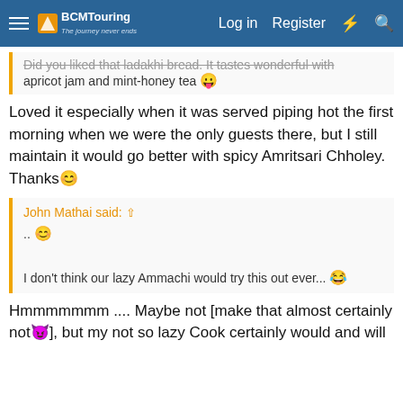BCMTouring — Log in  Register
Did you liked that ladakhi bread. It tastes wonderful with apricot jam and mint-honey tea 😛
Loved it especially when it was served piping hot the first morning when we were the only guests there, but I still maintain it would go better with spicy Amritsari Chholey. Thanks😊
John Mathai said: ⊕
.. 😊
I don't think our lazy Ammachi would try this out ever... 😂
Hmmmmmmm .... Maybe not [make that almost certainly not😈], but my not so lazy Cook certainly would and will